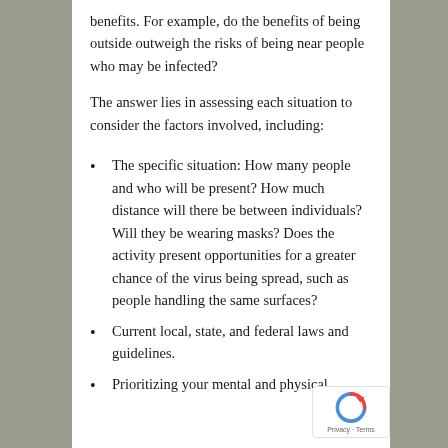benefits. For example, do the benefits of being outside outweigh the risks of being near people who may be infected?
The answer lies in assessing each situation to consider the factors involved, including:
The specific situation: How many people and who will be present? How much distance will there be between individuals? Will they be wearing masks? Does the activity present opportunities for a greater chance of the virus being spread, such as people handling the same surfaces?
Current local, state, and federal laws and guidelines.
Prioritizing your mental and physical